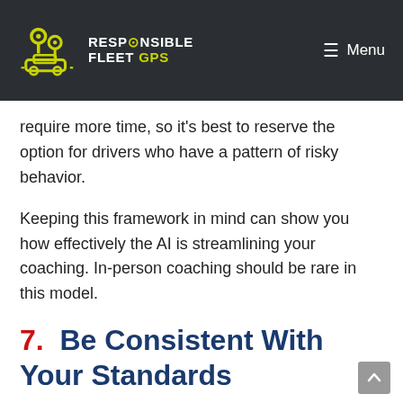RESPONSIBLE FLEET GPS  Menu
require more time, so it's best to reserve the option for drivers who have a pattern of risky behavior.
Keeping this framework in mind can show you how effectively the AI is streamlining your coaching. In-person coaching should be rare in this model.
7.  Be Consistent With Your Standards
Larger organizations with multiple locations might